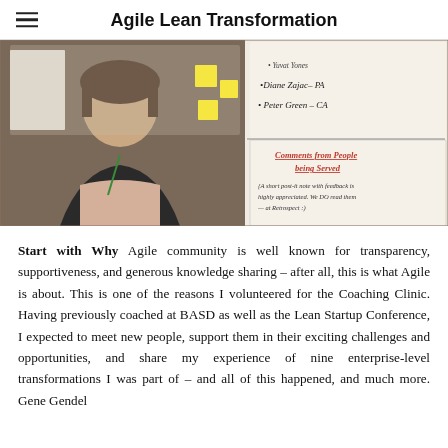Agile Lean Transformation
[Figure (photo): A woman smiling in front of a whiteboard with sticky notes and handwritten text. The whiteboard shows names including 'Diane Zajac - PA' and 'Peter Green - CA', and a section titled 'Comments from People being Served' with handwritten notes.]
Start with Why Agile community is well known for transparency, supportiveness, and generous knowledge sharing – after all, this is what Agile is about. This is one of the reasons I volunteered for the Coaching Clinic. Having previously coached at BASD as well as the Lean Startup Conference, I expected to meet new people, support them in their exciting challenges and opportunities, and share my experience of nine enterprise-level transformations I was part of – and all of this happened, and much more. Gene Gendel